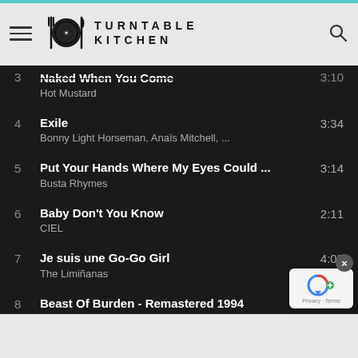[Figure (logo): Turntable Kitchen logo with vinyl record and cutlery icon, hamburger menu, and search icon in a light gray header bar]
3 Naked When You Come  Hot Mustard  3:10
4 Exile  3:34  Bonny Light Horseman, Anaïs Mitchell, ...
5 Put Your Hands Where My Eyes Could ...  3:14  Busta Rhymes
6 Baby Don't You Know  2:11  CIEL
7 Je suis une Go-Go Girl  4:03  The Limiñanas
8 Beast Of Burden - Remastered 1994  4:25  The Rolling Stones
9 California  3:...